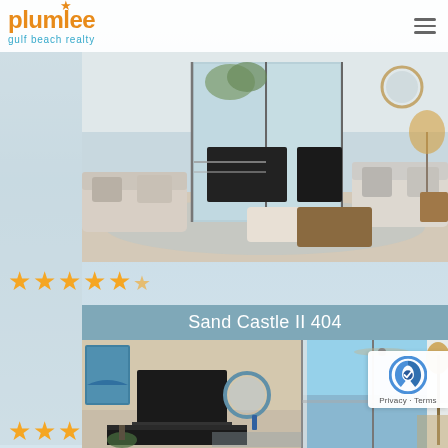[Figure (logo): Plumlee Gulf Beach Realty logo with orange star and teal text]
[Figure (photo): Interior living room photo of a beach condo with white sofas, sliding glass doors to balcony, and coastal decor]
★★★★★½ (star rating row)
Sand Castle II 404
[Figure (photo): Interior living room photo of Sand Castle II 404 with beach view through sliding glass doors, TV on wall, blue circular mirror, and ocean visible]
[Figure (other): reCAPTCHA badge with Privacy and Terms links]